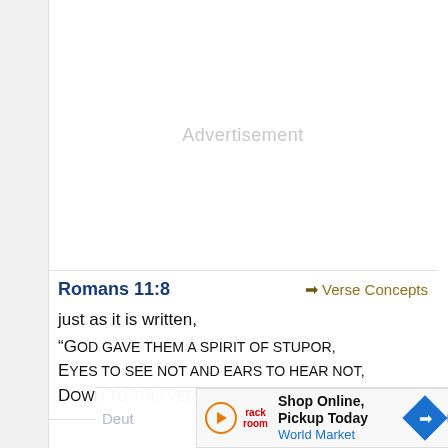[Figure (other): Advertisement placeholder area — large blank white space with 'Advertisement' label in light gray]
Romans 11:8
➡ Verse Concepts
just as it is written,
“God gave them a spirit of stupor,
Eyes to see not and ears to hear not,
Down to this very day.”
Deut... cepts Yet t... rt to